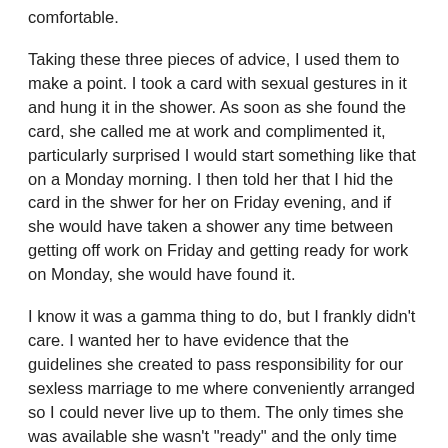comfortable.
Taking these three pieces of advice, I used them to make a point. I took a card with sexual gestures in it and hung it in the shower. As soon as she found the card, she called me at work and complimented it, particularly surprised I would start something like that on a Monday morning. I then told her that I hid the card in the shwer for her on Friday evening, and if she would have taken a shower any time between getting off work on Friday and getting ready for work on Monday, she would have found it.
I know it was a gamma thing to do, but I frankly didn't care. I wanted her to have evidence that the guidelines she created to pass responsibility for our sexless marriage to me where conveniently arranged so I could never live up to them. The only times she was available she wasn't "ready" and the only time she was ready she wasn't available.
Gamma as it was, I did want her to see I wasn't too stupid to notice. I suspect a lot of husbands are put in situations where they cannot possibly succeed, yet somehow it is